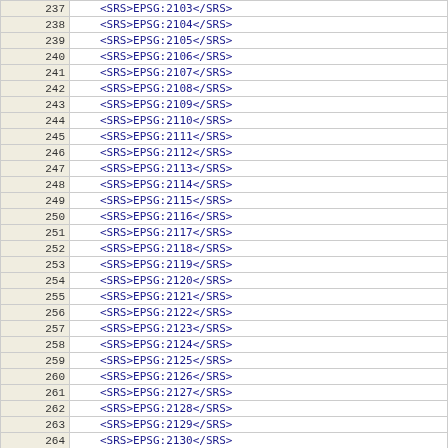| 237 | <SRS>EPSG:2103</SRS> |
| 238 | <SRS>EPSG:2104</SRS> |
| 239 | <SRS>EPSG:2105</SRS> |
| 240 | <SRS>EPSG:2106</SRS> |
| 241 | <SRS>EPSG:2107</SRS> |
| 242 | <SRS>EPSG:2108</SRS> |
| 243 | <SRS>EPSG:2109</SRS> |
| 244 | <SRS>EPSG:2110</SRS> |
| 245 | <SRS>EPSG:2111</SRS> |
| 246 | <SRS>EPSG:2112</SRS> |
| 247 | <SRS>EPSG:2113</SRS> |
| 248 | <SRS>EPSG:2114</SRS> |
| 249 | <SRS>EPSG:2115</SRS> |
| 250 | <SRS>EPSG:2116</SRS> |
| 251 | <SRS>EPSG:2117</SRS> |
| 252 | <SRS>EPSG:2118</SRS> |
| 253 | <SRS>EPSG:2119</SRS> |
| 254 | <SRS>EPSG:2120</SRS> |
| 255 | <SRS>EPSG:2121</SRS> |
| 256 | <SRS>EPSG:2122</SRS> |
| 257 | <SRS>EPSG:2123</SRS> |
| 258 | <SRS>EPSG:2124</SRS> |
| 259 | <SRS>EPSG:2125</SRS> |
| 260 | <SRS>EPSG:2126</SRS> |
| 261 | <SRS>EPSG:2127</SRS> |
| 262 | <SRS>EPSG:2128</SRS> |
| 263 | <SRS>EPSG:2129</SRS> |
| 264 | <SRS>EPSG:2130</SRS> |
| 265 | <SRS>EPSG:2131</SRS> |
| 266 | <SRS>EPSG:2132</SRS> |
| 267 | <SRS>EPSG:2133</SRS> |
| 268 | <SRS>EPSG:2134</SRS> |